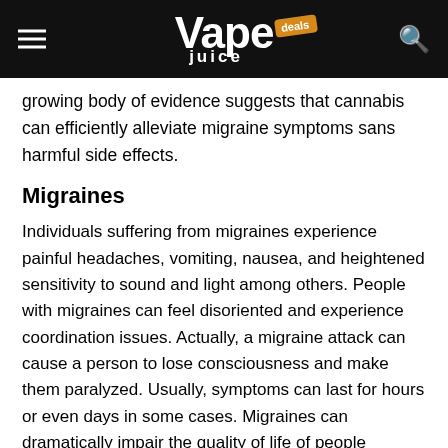Vape Juice Deals
growing body of evidence suggests that cannabis can efficiently alleviate migraine symptoms sans harmful side effects.
Migraines
Individuals suffering from migraines experience painful headaches, vomiting, nausea, and heightened sensitivity to sound and light among others. People with migraines can feel disoriented and experience coordination issues. Actually, a migraine attack can cause a person to lose consciousness and make them paralyzed. Usually, symptoms can last for hours or even days in some cases. Migraines can dramatically impair the quality of life of people affected by the condition.
Migraines are induced by a myriad of environmental and physiological triggers. Most likely they are…